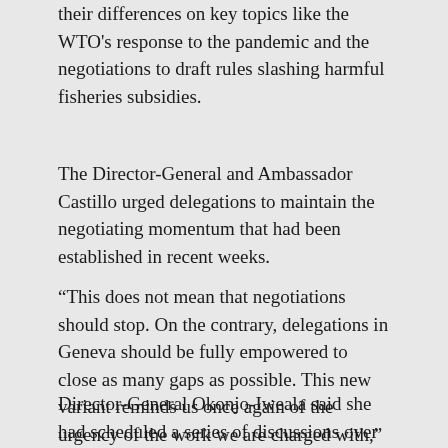their differences on key topics like the WTO's response to the pandemic and the negotiations to draft rules slashing harmful fisheries subsidies.
The Director-General and Ambassador Castillo urged delegations to maintain the negotiating momentum that had been established in recent weeks.
“This does not mean that negotiations should stop. On the contrary, delegations in Geneva should be fully empowered to close as many gaps as possible. This new variant reminds us once again of the urgency of the work we are charged with,” the DG said.
Director-General Okonjo-Iweala said she had scheduled a series of discussions over the weekend with ambassadors and visiting negotiators and that she planned to go ahead with these